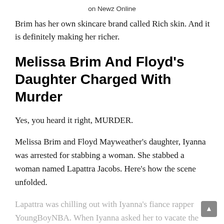on Newz Online
Brim has her own skincare brand called Rich skin. And it is definitely making her richer.
Melissa Brim And Floyd's Daughter Charged With Murder
Yes, you heard it right, MURDER.
Melissa Brim and Floyd Mayweather's daughter, Iyanna was arrested for stabbing a woman. She stabbed a woman named Lapattra Jacobs. Here's how the scene unfolded.
Lapattra was chilling out with Iyanna's fiance rapper YoungBoyNBA. When Iyanna asked her to vacate the